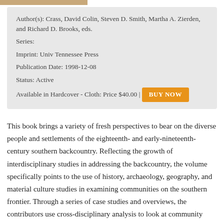[Figure (photo): Partial image strip at top of page showing a brownish/tan colored surface]
Author(s): Crass, David Colin, Steven D. Smith, Martha A. Zierden, and Richard D. Brooks, eds.
Series:
Imprint: Univ Tennessee Press
Publication Date: 1998-12-08
Status: Active
Available in Hardcover - Cloth: Price $40.00 | BUY NOW
This book brings a variety of fresh perspectives to bear on the diverse people and settlements of the eighteenth- and early-nineteenth-century southern backcountry. Reflecting the growth of interdisciplinary studies in addressing the backcountry, the volume specifically points to the use of history, archaeology, geography, and material culture studies in examining communities on the southern frontier. Through a series of case studies and overviews, the contributors use cross-disciplinary analysis to look at community formation and maintenance in the backcountry areas of Virginia, North Carolina, South Carolina, and Tennessee.